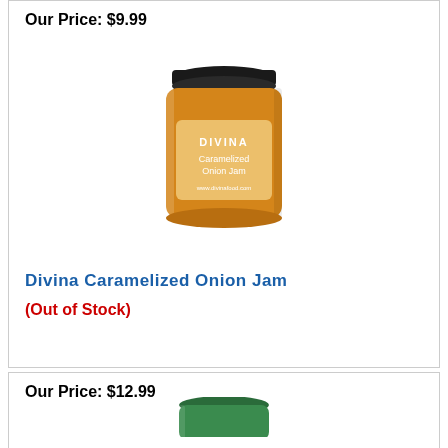Our Price: $9.99
[Figure (photo): A glass jar of Divina Caramelized Onion Jam with a dark lid and golden-brown jam inside, white label text on jar]
Divina Caramelized Onion Jam
(Out of Stock)
Our Price: $12.99